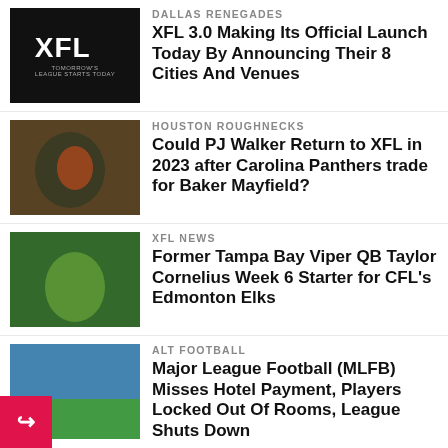[Figure (photo): XFL logo on black background]
DALLAS RENEGADES
XFL 3.0 Making Its Official Launch Today By Announcing Their 8 Cities And Venues
[Figure (photo): Football player in dark blue Panthers uniform throwing a pass]
HOUSTON ROUGHNECKS
Could PJ Walker Return to XFL in 2023 after Carolina Panthers trade for Baker Mayfield?
[Figure (photo): Football player in green uniform running with the ball]
XFL NEWS
Former Tampa Bay Viper QB Taylor Cornelius Week 6 Starter for CFL's Edmonton Elks
[Figure (photo): Football stadium aerial view with green field]
ALT FOOTBALL
Major League Football (MLFB) Misses Hotel Payment, Players Locked Out Of Rooms, League Shuts Down
[Figure (photo): Football stadium with blue seats aerial view]
ALT FOOTBALL
PR: Major League Football (MLFB) Announces Tickets Go On Sale